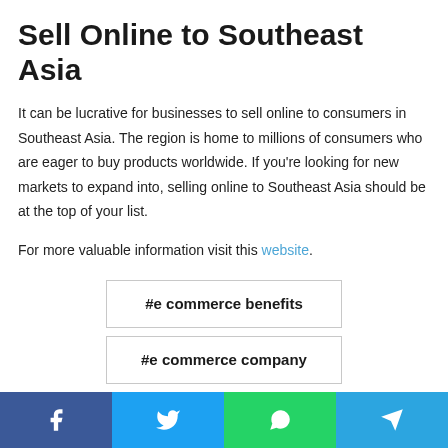Sell Online to Southeast Asia
It can be lucrative for businesses to sell online to consumers in Southeast Asia. The region is home to millions of consumers who are eager to buy products worldwide. If you're looking for new markets to expand into, selling online to Southeast Asia should be at the top of your list.
For more valuable information visit this website.
#e commerce benefits
#e commerce company
#e commerce full form